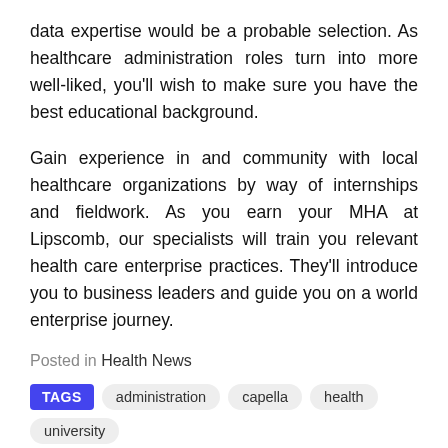data expertise would be a probable selection. As healthcare administration roles turn into more well-liked, you'll wish to make sure you have the best educational background.
Gain experience in and community with local healthcare organizations by way of internships and fieldwork. As you earn your MHA at Lipscomb, our specialists will train you relevant health care enterprise practices. They'll introduce you to business leaders and guide you on a world enterprise journey.
Posted in Health News
TAGS  administration  capella  health  university
Previous: Healthy Snacks – Kansas Medical Center   Next: Best Healthy Recipes Ever